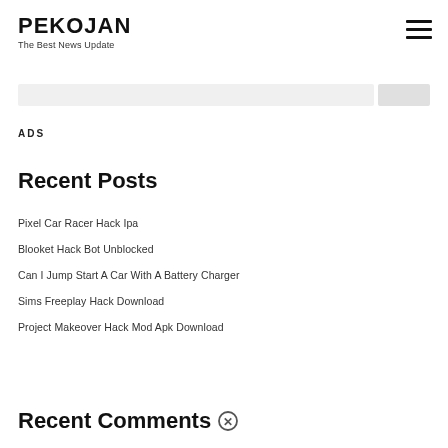PEKOJAN
The Best News Update
ADS
Recent Posts
Pixel Car Racer Hack Ipa
Blooket Hack Bot Unblocked
Can I Jump Start A Car With A Battery Charger
Sims Freeplay Hack Download
Project Makeover Hack Mod Apk Download
Recent Comments ✕